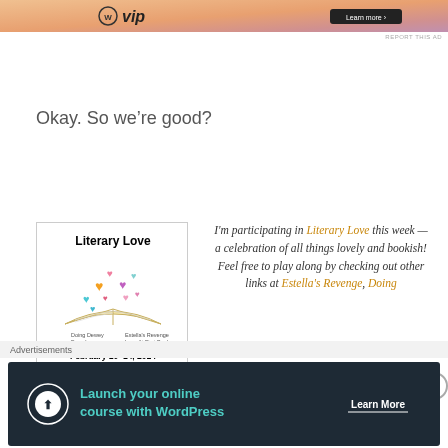[Figure (illustration): Top advertisement banner with WordPress VIP logo and gradient background with Learn More button]
REPORT THIS AD
Okay. So we're good?
[Figure (illustration): Literary Love event logo with open book and colorful hearts floating above it, showing February 10-14, 2014, with sponsors Doing Dewey, From Iu, Estella's Revenge, Love At First Book]
I'm participating in Literary Love this week — a celebration of all things lovely and bookish! Feel free to play along by checking out other links at Estella's Revenge, Doing
Advertisements
[Figure (illustration): Dark advertisement banner for WordPress online course with Launch your online course with WordPress text and Learn More button]